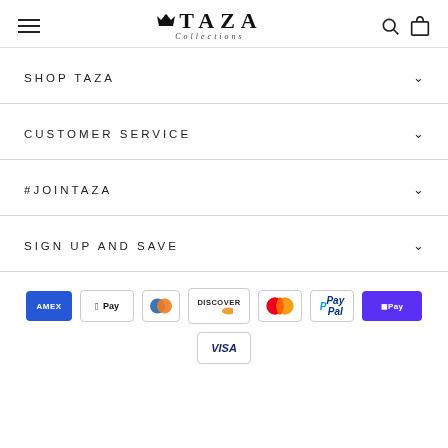TAZA Collections
SHOP TAZA
CUSTOMER SERVICE
#JOINTAZA
SIGN UP AND SAVE
[Figure (logo): Payment method icons: American Express, Apple Pay, Diners Club, Discover, Mastercard, PayPal, ShopPay, Visa]